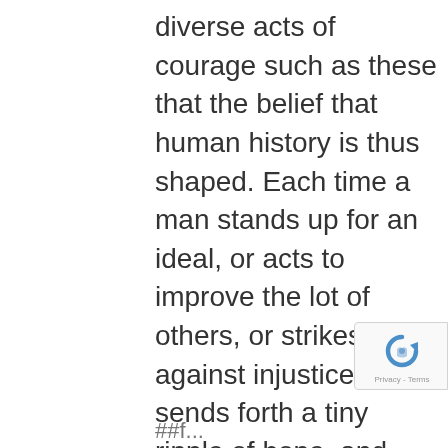diverse acts of courage such as these that the belief that human history is thus shaped. Each time a man stands up for an ideal, or acts to improve the lot of others, or strikes out against injustice, he sends forth a tiny ripple of hope, and crossing each other from a million different centers of energy and daring those ripples build a current which can sweep down the mightiest walls of oppression and resistance.
[Figure (logo): reCAPTCHA badge with blue arrow-circle logo and 'Privacy - Terms' text]